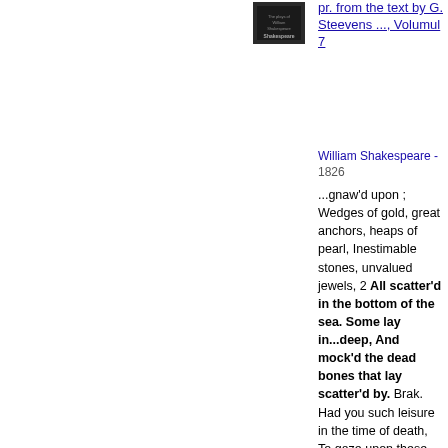[Figure (photo): Small book cover thumbnail, dark colored book]
pr. from the text by G. Steevens ..., Volumul 7
William Shakespeare - 1826
...gnaw'd upon ; Wedges of gold, great anchors, heaps of pearl, Inestimable stones, unvalued jewels, 2 All scatter'd in the bottom of the sea. Some lay in...deep, And mock'd the dead bones that lay scatter'd by. Brak. Had you such leisure in the time of death, To gaze upon these secrets of the